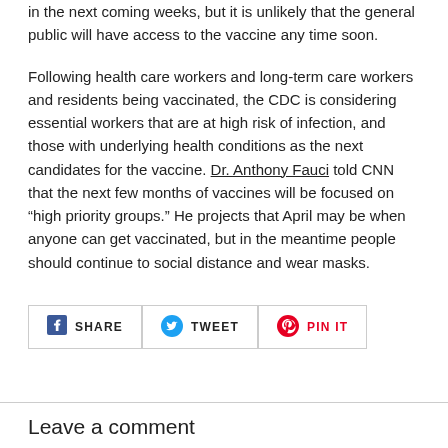in the next coming weeks, but it is unlikely that the general public will have access to the vaccine any time soon.
Following health care workers and long-term care workers and residents being vaccinated, the CDC is considering essential workers that are at high risk of infection, and those with underlying health conditions as the next candidates for the vaccine. Dr. Anthony Fauci told CNN that the next few months of vaccines will be focused on “high priority groups.” He projects that April may be when anyone can get vaccinated, but in the meantime people should continue to social distance and wear masks.
[Figure (infographic): Social share buttons: SHARE (Facebook), TWEET (Twitter), PIN IT (Pinterest)]
Leave a comment